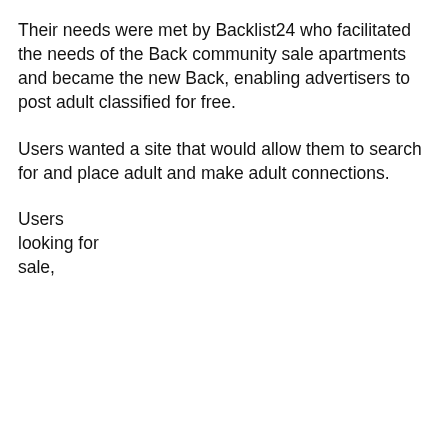Their needs were met by Backlist24 who facilitated the needs of the Back community sale apartments and became the new Back, enabling advertisers to post adult classified for free.
Users wanted a site that would allow them to search for and place adult and make adult connections.
Users
looking for
sale,